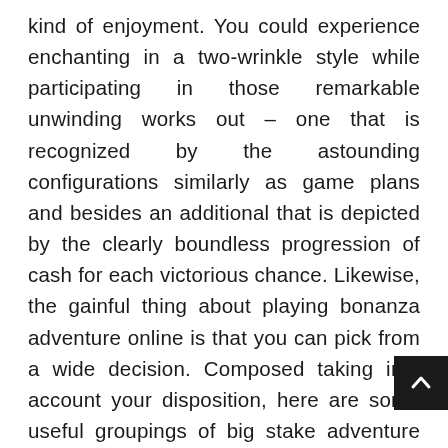kind of enjoyment. You could experience enchanting in a two-wrinkle style while participating in those remarkable unwinding works out – one that is recognized by the astounding configurations similarly as game plans and besides an additional that is depicted by the clearly boundless progression of cash for each victorious chance. Likewise, the gainful thing about playing bonanza adventure online is that you can pick from a wide decision. Composed taking into account your disposition, here are some useful groupings of big stake adventure games on-line set up in that capacity – B-Bonus, A-Action, L-Luck and M-Mind, gathered as the BALM characterization. You should address those games that can promise you surprising pots you are the sort who finds delight in burrowing those pleasing activities.